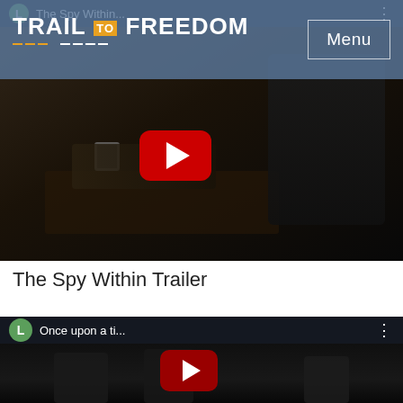Trail to Freedom — Menu
[Figure (screenshot): YouTube video thumbnail for 'The Spy Within...' showing a dark scene of a person at a desk writing, with a red YouTube play button overlay]
The Spy Within Trailer
[Figure (screenshot): YouTube video thumbnail for 'Once upon a ti...' showing dark figures, with a red YouTube play button overlay and green 'L' avatar icon]